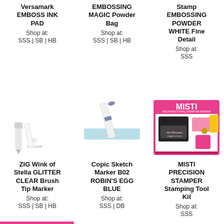Versamark EMBOSS INK PAD
Shop at:
SSS | SB | HB
EMBOSSING MAGIC Powder Bag
Shop at:
SSS | SB | HB
Stamp EMBOSSING POWDER WHITE Fine Detail
Shop at:
SSS
[Figure (photo): ZIG Wink of Stella glitter clear brush tip marker pen]
[Figure (photo): Copic Sketch Marker B02 Robin's Egg Blue marker with light blue swatch]
[Figure (photo): MISTI Precision Stamper Stamping Tool Kit box]
ZIG Wink of Stella GLITTER CLEAR Brush Tip Marker
Shop at:
SSS | SB | HB
Copic Sketch Marker B02 ROBIN'S EGG BLUE
Shop at:
SSS | DB
MISTI PRECISION STAMPER Stamping Tool Kit
Shop at:
SSS